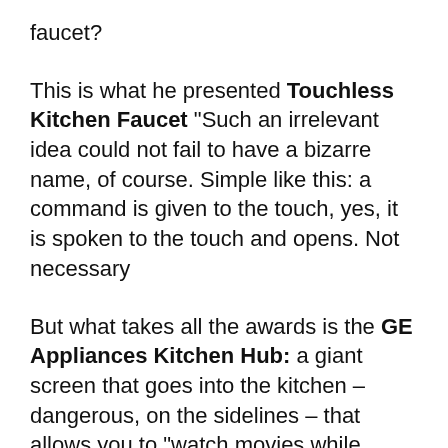faucet?
This is what he presented Touchless Kitchen Faucet "Such an irrelevant idea could not fail to have a bizarre name, of course. Simple like this: a command is given to the touch, yes, it is spoken to the touch and opens. Not necessary
But what takes all the awards is the GE Appliances Kitchen Hub: a giant screen that goes into the kitchen – dangerous, on the sidelines – that allows you to "watch movies while cooking." We all put the cell phone near the refrigerator or the oven to see something while we cook, but this device goes much further.